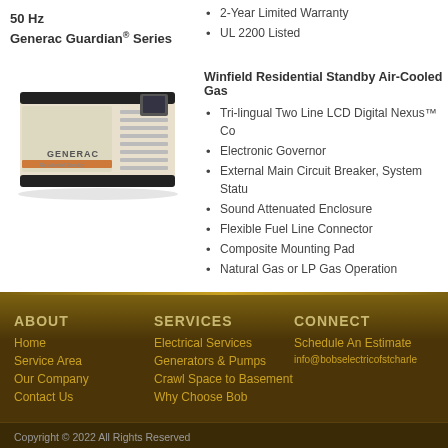2-Year Limited Warranty
UL 2200 Listed
50 Hz
Generac Guardian® Series
[Figure (photo): Generac Guardian air-cooled standby generator unit in beige/white enclosure with ventilation slats and GENERAC branding]
Winfield Residential Standby Air-Cooled Gas
Tri-lingual Two Line LCD Digital Nexus™ Co
Electronic Governor
External Main Circuit Breaker, System Statu
Sound Attenuated Enclosure
Flexible Fuel Line Connector
Composite Mounting Pad
Natural Gas or LP Gas Operation
ABOUT
Home
Service Area
Our Company
Contact Us
SERVICES
Electrical Services
Generators & Pumps
Crawl Space to Basement
Why Choose Bob
CONNECT
Schedule An Estimate
info@bobselectricofstcharle
Copyright © 2022 All Rights Reserved